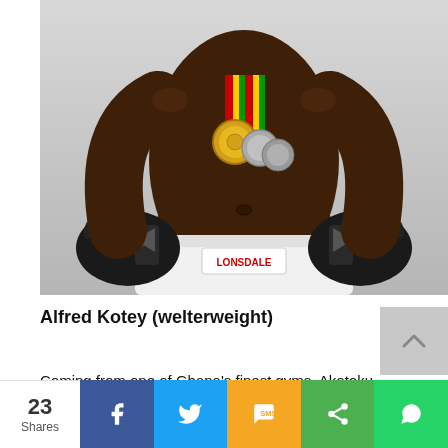[Figure (photo): A shirtless male boxer wearing black Lonsdale boxing gloves, posing with hands on hips, displaying multiple medals around his neck including a gold medal and silver medals with red/green/yellow ribbon. Wearing white Lonsdale boxing shorts. Background is grey/white studio.]
Alfred Kotey (welterweight)
Coming from one of Ghana's finest gyms, Akotoku Academy's Alfred Kotey is a surprise inclusion in the Commonwealth Games team after failing to take part in the Individual Championship that qualified boxers into the national team.
23 Shares | Facebook | Twitter | SMS | Share | WhatsApp